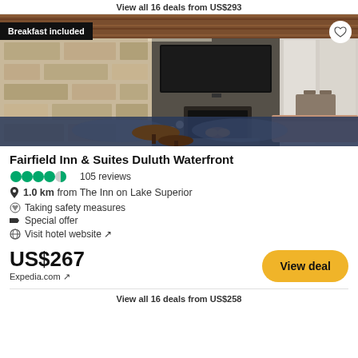View all 16 deals from US$293
[Figure (photo): Hotel lobby interior with stone fireplace, wooden ceiling, flat-screen TV, patterned rug, coffee tables, and tan sofa. Badge reads 'Breakfast included'.]
Fairfield Inn & Suites Duluth Waterfront
4.5 stars · 105 reviews
1.0 km from The Inn on Lake Superior
Taking safety measures
Special offer
Visit hotel website ↗
US$267
Expedia.com ↗
View deal
View all 16 deals from US$258